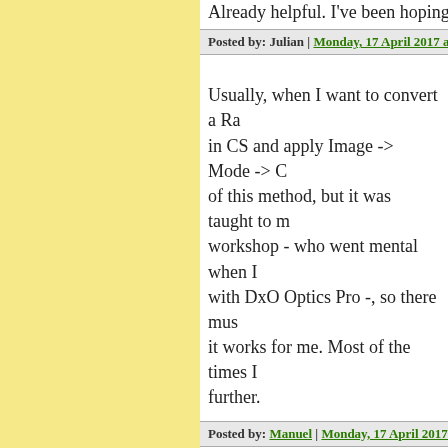Already helpful. I've been hoping fo
Posted by: Julian | Monday, 17 April 2017 at 04:23 PM
Usually, when I want to convert a Ra in CS and apply Image -> Mode -> C of this method, but it was taught to m workshop - who went mental when I with DxO Optics Pro -, so there mus it works for me. Most of the times I further.
Posted by: Manuel | Monday, 17 April 2017 at 04:49 P
Hi,
Re your reference to John Gossage:
One of these?
https://www.vincentborrelli.com/pic
https://www.vincentborrelli.com/pic